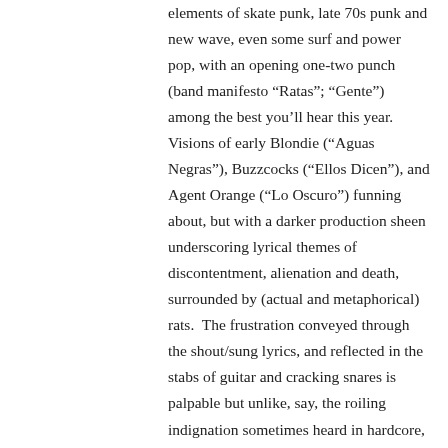elements of skate punk, late 70s punk and new wave, even some surf and power pop, with an opening one-two punch (band manifesto “Ratas”; “Gente”) among the best you’ll hear this year.  Visions of early Blondie (“Aguas Negras”), Buzzcocks (“Ellos Dicen”), and Agent Orange (“Lo Oscuro”) funning about, but with a darker production sheen underscoring lyrical themes of discontentment, alienation and death, surrounded by (actual and metaphorical) rats.  The frustration conveyed through the shout/sung lyrics, and reflected in the stabs of guitar and cracking snares is palpable but unlike, say, the roiling indignation sometimes heard in hardcore, this anger feels more born of desperation; of observing and feeling but seeing no change.  Possibly less visceral, but no less affecting, it should appeal to those who like their punk aggressive and